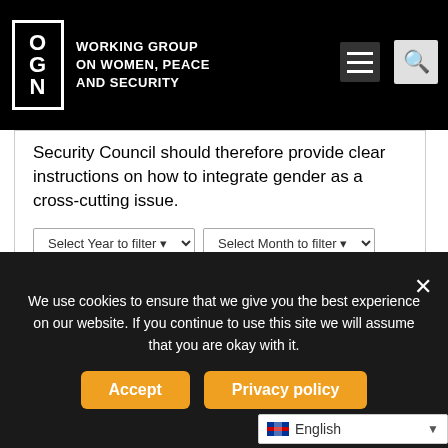NGO WORKING GROUP ON WOMEN, PEACE AND SECURITY
Security Council should therefore provide clear instructions on how to integrate gender as a cross-cutting issue.
Select Year to filter | Select Month to filter | Reset
Previous | 1 | 2 | 3 | 4 | 5 | 6 | 7 | ... | 10 | ... | 20 | ... | 30 | ... | 39 Results | Next
We use cookies to ensure that we give you the best experience on our website. If you continue to use this site we will assume that you are okay with it.